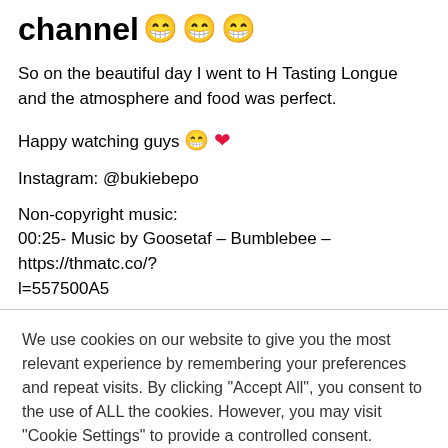channel 😁😁😁
So on the beautiful day I went to H Tasting Longue and the atmosphere and food was perfect.
Happy watching guys 😁❤
Instagram: @bukiebepo
Non-copyright music:
00:25- Music by Goosetaf – Bumblebee – https://thmatc.co/?l=557500A5
We use cookies on our website to give you the most relevant experience by remembering your preferences and repeat visits. By clicking "Accept All", you consent to the use of ALL the cookies. However, you may visit "Cookie Settings" to provide a controlled consent.